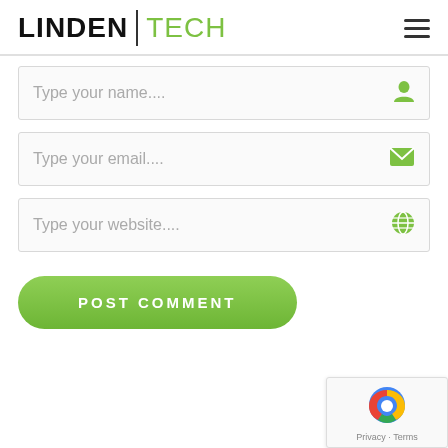LINDEN | TECH
[Figure (screenshot): Name input field with placeholder 'Type your name....' and a green person/user icon on the right]
[Figure (screenshot): Email input field with placeholder 'Type your email....' and a green envelope icon on the right]
[Figure (screenshot): Website input field with placeholder 'Type your website....' and a green globe icon on the right]
[Figure (screenshot): Green rounded POST COMMENT button]
[Figure (screenshot): reCAPTCHA widget with Privacy and Terms links]